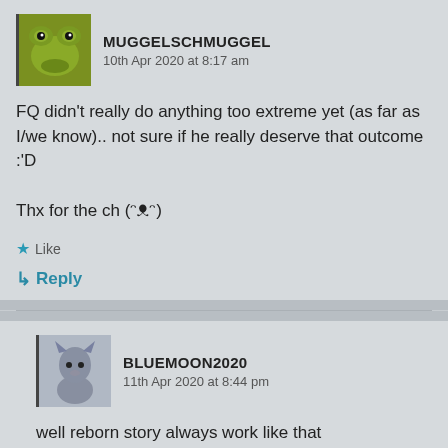MUGGELSCHMUGGEL
10th Apr 2020 at 8:17 am
FQ didn’t really do anything too extreme yet (as far as I/we know).. not sure if he really deserve that outcome :’D

Thx for the ch (ᗕᗧᗕ)
★ Like
↳ Reply
BLUEMOON2020
11th Apr 2020 at 8:44 pm
well reborn story always work like that